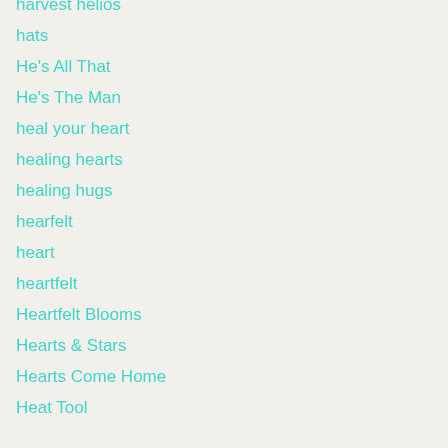harvest helios
hats
He's All That
He's The Man
heal your heart
healing hearts
healing hugs
hearfelt
heart
heartfelt
Heartfelt Blooms
Hearts & Stars
Hearts Come Home
Heat Tool